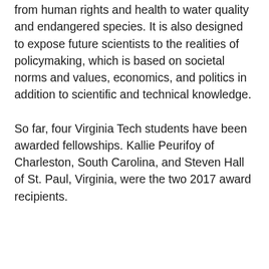from human rights and health to water quality and endangered species. It is also designed to expose future scientists to the realities of policymaking, which is based on societal norms and values, economics, and politics in addition to scientific and technical knowledge.
So far, four Virginia Tech students have been awarded fellowships. Kallie Peurifoy of Charleston, South Carolina, and Steven Hall of St. Paul, Virginia, were the two 2017 award recipients.